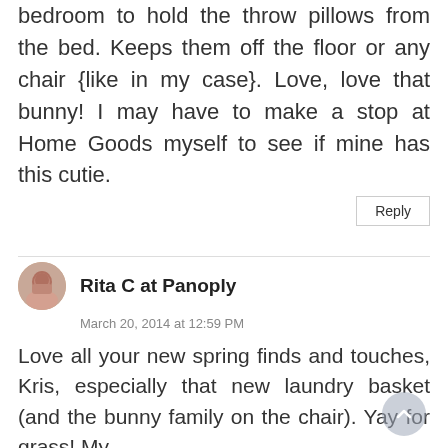bedroom to hold the throw pillows from the bed. Keeps them off the floor or any chair {like in my case}. Love, love that bunny! I may have to make a stop at Home Goods myself to see if mine has this cutie.
Reply
Rita C at Panoply
March 20, 2014 at 12:59 PM
Love all your new spring finds and touches, Kris, especially that new laundry basket (and the bunny family on the chair). Yay for grass! My